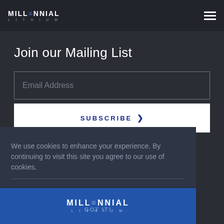[Figure (logo): Millennial Lithium logo top-left with hamburger menu icon top-right]
Join our Mailing List
Email Address
SUBSCRIBE >
We use cookies to enhance your experience. By continuing to visit this site you agree to our use of cookies.
[Figure (logo): Millennial Lithium footer logo on blue background with 'GOT IT!' overlay text]